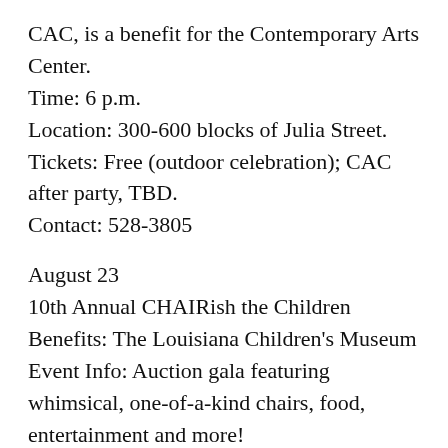CAC, is a benefit for the Contemporary Arts Center.
Time: 6 p.m.
Location: 300-600 blocks of Julia Street.
Tickets: Free (outdoor celebration); CAC after party, TBD.
Contact: 528-3805
August 23
10th Annual CHAIRish the Children
Benefits: The Louisiana Children's Museum
Event Info: Auction gala featuring whimsical, one-of-a-kind chairs, food, entertainment and more!